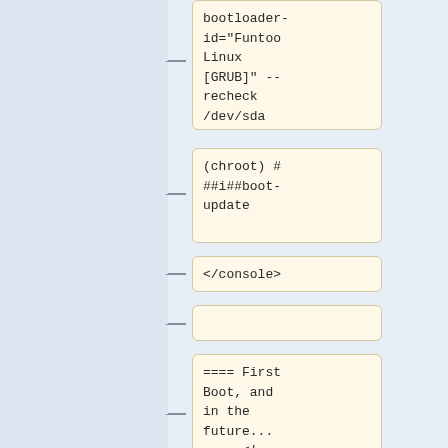bootloader-id="Funtoo Linux [GRUB]" --recheck /dev/sda
(chroot) # ##i##boot-update
</console>
==== First Boot, and in the future... ==== <!--T:193-->